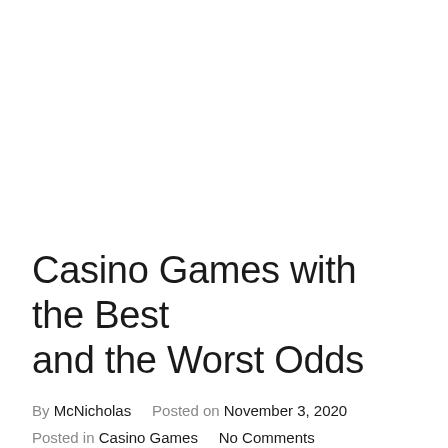Casino Games with the Best and the Worst Odds
By McNicholas   Posted on November 3, 2020
Posted in Casino Games   No Comments
While some games are meant for earning serious money by